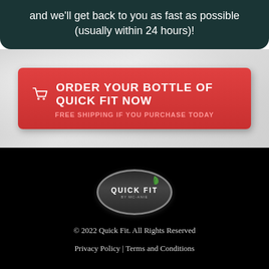and we'll get back to you as fast as possible (usually within 24 hours)!
[Figure (other): Red call-to-action button with shopping cart icon, text ORDER YOUR BOTTLE OF QUICK FIT NOW and FREE SHIPPING IF YOU PURCHASE TODAY, on a light gray textured background]
[Figure (logo): Quick Fit logo oval badge with green leaf accent on dark background]
© 2022 Quick Fit. All Rights Reserved
Privacy Policy | Terms and Conditions